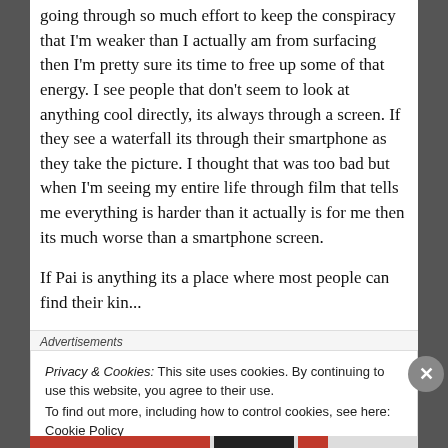...lying to myself always. I can thing I'm going through so much effort to keep the conspiracy that I'm weaker than I actually am from surfacing then I'm pretty sure its time to free up some of that energy. I see people that don't seem to look at anything cool directly, its always through a screen. If they see a waterfall its through their smartphone as they take the picture. I thought that was too bad but when I'm seeing my entire life through film that tells me everything is harder than it actually is for me then its much worse than a smartphone screen.
If Pai is anything its a place where most people can find their kin...
Advertisements
Privacy & Cookies: This site uses cookies. By continuing to use this website, you agree to their use.
To find out more, including how to control cookies, see here: Cookie Policy
Close and accept